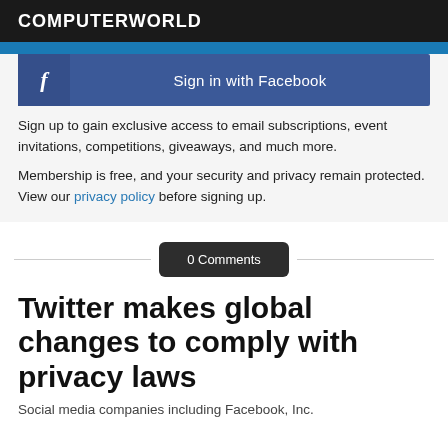COMPUTERWORLD
[Figure (screenshot): Facebook Sign in button with blue background and Facebook icon on the left]
Sign up to gain exclusive access to email subscriptions, event invitations, competitions, giveaways, and much more.
Membership is free, and your security and privacy remain protected. View our privacy policy before signing up.
0 Comments
Twitter makes global changes to comply with privacy laws
Social media companies including Facebook, Inc.